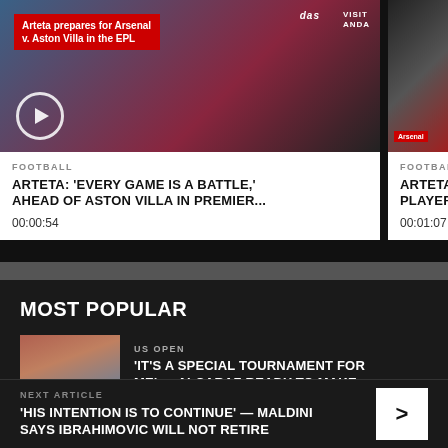[Figure (screenshot): Video thumbnail: Arteta press conference with red label 'Arteta prepares for Arsenal v. Aston Villa in the EPL', adidas and Visit Rwanda branding visible, play button overlay]
FOOTBALL
ARTETA: 'EVERY GAME IS A BATTLE,' AHEAD OF ASTON VILLA IN PREMIER...
00:00:54
[Figure (screenshot): Second video thumbnail: Arsenal related video, partial view, play button overlay, heart badge]
FOOTBALL
ARTETA PLAYER
00:01:07
MOST POPULAR
[Figure (photo): Thumbnail image of tennis player Carlos Alcaraz]
US OPEN
'IT'S A SPECIAL TOURNAMENT FOR ME' — ALCARAZ READY TO MAKE...
NEXT ARTICLE
'HIS INTENTION IS TO CONTINUE' — MALDINI SAYS IBRAHIMOVIC WILL NOT RETIRE